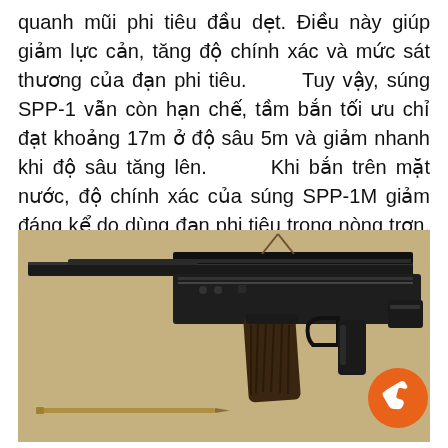quanh mũi phi tiêu đầu dẹt. Điều này giúp giảm lực cản, tăng độ chính xác và mức sát thương của đạn phi tiêu.      Tuy vậy, súng SPP-1 vẫn còn hạn chế, tầm bắn tối ưu chỉ đạt khoảng 17m ở độ sâu 5m và giảm nhanh khi độ sâu tăng lên.      Khi bắn trên mặt nước, độ chính xác của súng SPP-1M giảm đáng kể do dùng đạn phi tiêu trong nòng trơn.      Súng trường tấn công nhanh dưới nước APS      Ảnh: Wikimedia.      APS có
[Figure (photo): Photo of an APS underwater assault rifle (submachine gun) with magazine and a long needle-shaped dart/bolt visible below. An orange phone button icon overlaid in bottom-right corner.]